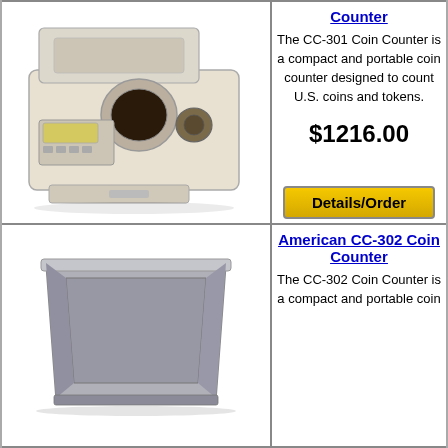[Figure (photo): American CC-301 Coin Counter device — a beige compact coin counting machine with a hopper tray on top, digital display panel, and coin slot]
Counter
The CC-301 Coin Counter is a compact and portable coin counter designed to count U.S. coins and tokens.
$1216.00
Details/Order
[Figure (photo): American CC-302 Coin Counter device — a gray rectangular hopper/basket shaped component]
American CC-302 Coin Counter
The CC-302 Coin Counter is a compact and portable coin